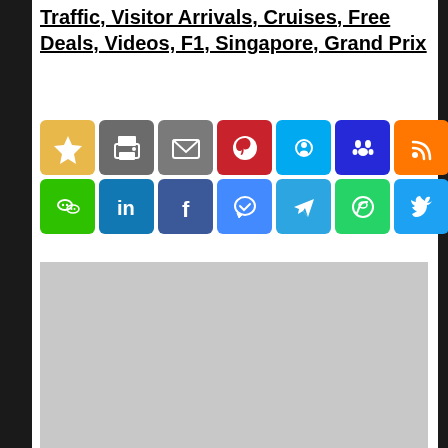Traffic, Visitor Arrivals, Cruises, Free Deals, Videos, F1, Singapore, Grand Prix
[Figure (infographic): Grid of social media sharing icons: Row 1: Bookmark/Favorite (gold), Print (gray), Email (gray), Pinterest (red), Skype (blue), Baidu (dark blue), RSS (orange), Line (green). Row 2: WeChat (green), LinkedIn (blue), Facebook (blue), Messenger (blue), Telegram (blue), WhatsApp (green), Twitter (blue), Twitter (blue).]
[Figure (other): Large gray placeholder rectangle below social media icons]